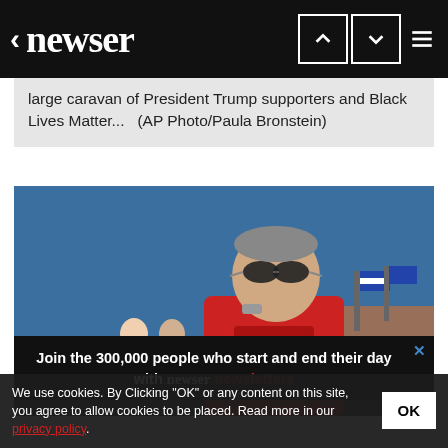newser
large caravan of President Trump supporters and Black Lives Matter...   (AP Photo/Paula Bronstein)
[Figure (photo): A man wearing a red Trump shirt and sunglasses stands in the foreground at an outdoor rally; other supporters and flags visible in the background against a blue sky.]
Join the 300,000 people who start and end their day with newser newsletters
A man takes off his hat in prayer during a ... Clackamas, Or...
We use cookies. By Clicking "OK" or any content on this site, you agree to allow cookies to be placed. Read more in our privacy policy.